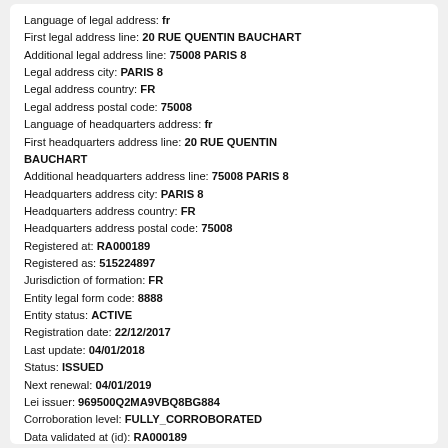Language of legal address: fr
First legal address line: 20 RUE QUENTIN BAUCHART
Additional legal address line: 75008 PARIS 8
Legal address city: PARIS 8
Legal address country: FR
Legal address postal code: 75008
Language of headquarters address: fr
First headquarters address line: 20 RUE QUENTIN BAUCHART
Additional headquarters address line: 75008 PARIS 8
Headquarters address city: PARIS 8
Headquarters address country: FR
Headquarters address postal code: 75008
Registered at: RA000189
Registered as: 515224897
Jurisdiction of formation: FR
Entity legal form code: 8888
Entity status: ACTIVE
Registration date: 22/12/2017
Last update: 04/01/2018
Status: ISSUED
Next renewal: 04/01/2019
Lei issuer: 969500Q2MA9VBQ8BG884
Corroboration level: FULLY_CORROBORATED
Data validated at (id): RA000189
Data validated as: 515224897